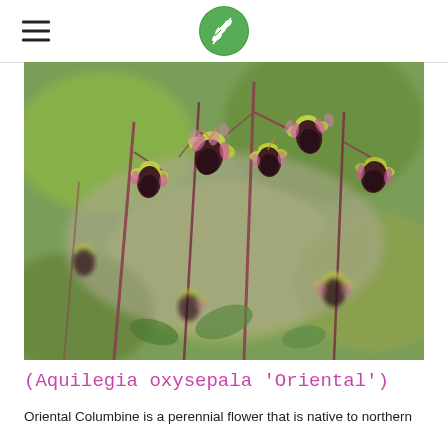Navigation header with hamburger menu and green leaf logo
[Figure (photo): Close-up photograph of Aquilegia oxysepala 'Oriental' flowers — dark burgundy/maroon drooping blooms with yellow-green petals on reddish-brown stems, blurred green background]
(Aquilegia oxysepala 'Oriental')
Oriental Columbine is a perennial flower that is native to northern